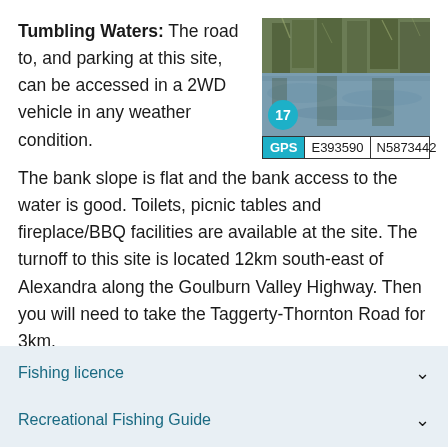Tumbling Waters: The road to, and parking at this site, can be accessed in a 2WD vehicle in any weather condition. The bank slope is flat and the bank access to the water is good. Toilets, picnic tables and fireplace/BBQ facilities are available at the site. The turnoff to this site is located 12km south-east of Alexandra along the Goulburn Valley Highway. Then you will need to take the Taggerty-Thornton Road for 3km.
[Figure (photo): Photo of a waterway with trees and vegetation reflected in calm water, with a teal circle marker showing number 17, and GPS coordinates E393590 N5873442 shown below the photo.]
Fishing licence
Recreational Fishing Guide